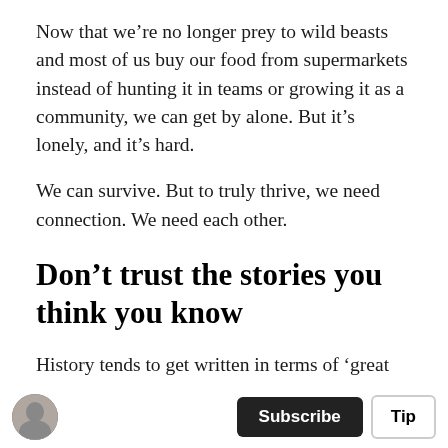Now that we’re no longer prey to wild beasts and most of us buy our food from supermarkets instead of hunting it in teams or growing it as a community, we can get by alone. But it’s lonely, and it’s hard.
We can survive. But to truly thrive, we need connection. We need each other.
Don’t trust the stories you think you know
History tends to get written in terms of ‘great men’. We focus on genius figures who make great leaps in